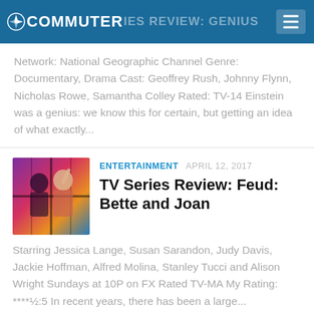COMMUTER SERIES REVIEW: GENIUS
Network: National Geographic Channel Genre: Documentary, Drama Cast: Geoffrey Rush, Johnny Flynn, Nicholas Rowe, Samantha Colley Rated: TV-14 Einstein was a genius: we know this for certain, but getting an idea of what exactly...
ENTERTAINMENT  APRIL 12, 2017
TV Series Review: Feud: Bette and Joan
Starring Jessica Lange, Susan Sarandon, Judy Davis, Jackie Hoffman, Alfred Molina, Stanley Tucci and Alison Wright Sundays at 10P on FX Rated TV-MA My Rating: ****½:5 In recent years, there has been a large...